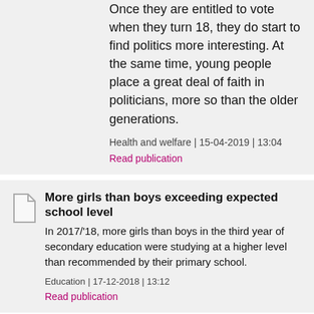Once they are entitled to vote when they turn 18, they do start to find politics more interesting. At the same time, young people place a great deal of faith in politicians, more so than the older generations.
Health and welfare | 15-04-2019 | 13:04
Read publication
More girls than boys exceeding expected school level
In 2017/'18, more girls than boys in the third year of secondary education were studying at a higher level than recommended by their primary school.
Education | 17-12-2018 | 13:12
Read publication
Half of Dutch youth engage in volunteering